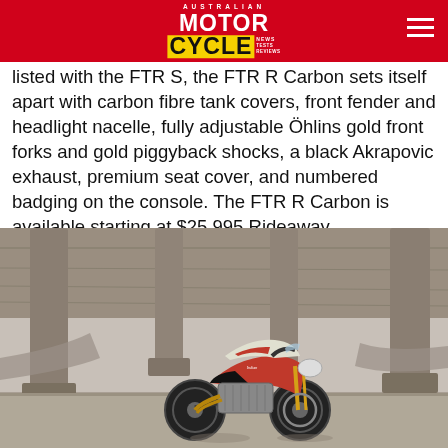AUSTRALIAN MOTORCYCLE NEWS
listed with the FTR S, the FTR R Carbon sets itself apart with carbon fibre tank covers, front fender and headlight nacelle, fully adjustable Öhlins gold front forks and gold piggyback shocks, a black Akrapovic exhaust, premium seat cover, and numbered badging on the console. The FTR R Carbon is available starting at $25,995 Rideaway.
[Figure (photo): Indian FTR R Carbon motorcycle parked under highway overpass/bridge, side profile view showing gold forks and red/white livery]